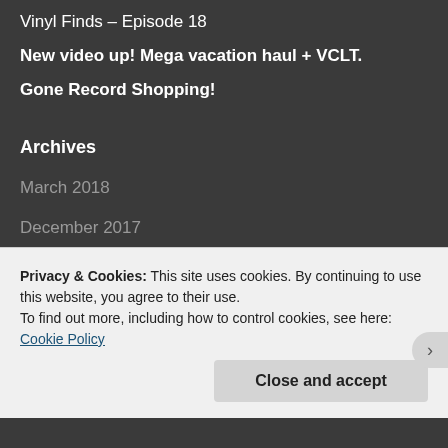Vinyl Finds – Episode 18
New video up! Mega vacation haul + VCLT.
Gone Record Shopping!
Archives
March 2018
December 2017
November 2017
Privacy & Cookies: This site uses cookies. By continuing to use this website, you agree to their use.
To find out more, including how to control cookies, see here: Cookie Policy
Close and accept